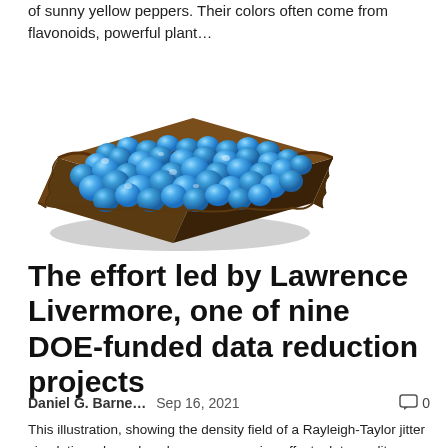of sunny yellow peppers. Their colors often come from flavonoids, powerful plant...
[Figure (illustration): 3D illustration of a density field from a Rayleigh-Taylor jitter simulation, showing blue bubble-like structures on a textured surface, viewed from an isometric angle.]
The effort led by Lawrence Livermore, one of nine DOE-funded data reduction projects
Daniel G. Barne...   Sep 16, 2021   0
This illustration, showing the density field of a Rayleigh-Taylor jitter simulation, shows how lossy compression affects data quality. Using the open source zfp software, researchers can vary the compression ratio and assess the desired...